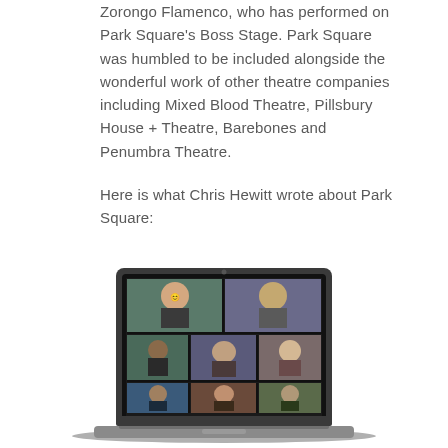Zorongo Flamenco, who has performed on Park Square's Boss Stage. Park Square was humbled to be included alongside the wonderful work of other theatre companies including Mixed Blood Theatre, Pillsbury House + Theatre, Barebones and Penumbra Theatre.
Here is what Chris Hewitt wrote about Park Square:
[Figure (photo): A laptop computer displaying a video call with multiple participants visible in a grid layout on the screen.]